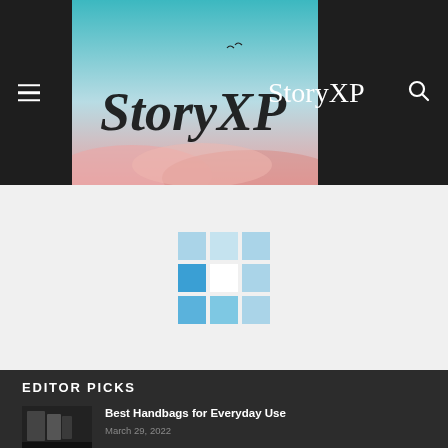StoryXP
[Figure (logo): StoryXP logo with stylized script text on teal/pink sky background]
[Figure (other): Loading grid of blue squares placeholder]
EDITOR PICKS
Best Handbags for Everyday Use
March 29, 2022